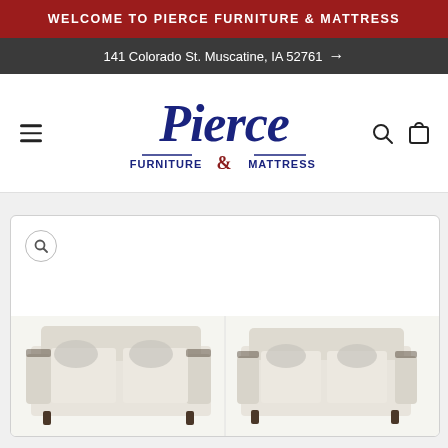WELCOME TO PIERCE FURNITURE & MATTRESS
141 Colorado St. Muscatine, IA 52761 →
[Figure (logo): Pierce Furniture & Mattress logo — cursive navy blue 'Pierce' script above a horizontal rule with 'FURNITURE & MATTRESS' text, the ampersand in dark red]
[Figure (photo): Product gallery showing two beige/cream upholstered sofas with decorative pillows, partially visible at the bottom of the page]